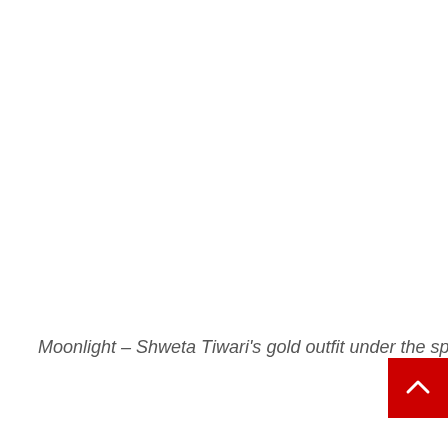Moonlight – Shweta Tiwari's gold outfit under the spotlight resembles the moonlight falling on he